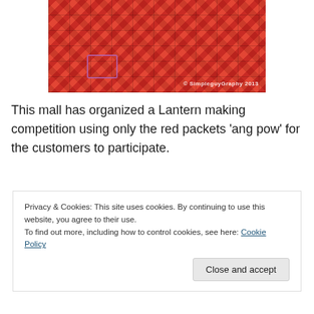[Figure (photo): Aerial/overhead view of stacked red boxes and shopping cart in a mall, with watermark '© SimpleguyGraphy 2013']
This mall has organized a Lantern making competition using only the red packets 'ang pow' for the customers to participate.
[Figure (photo): Photo of a traditional Chinese pagoda gate structure inside a mall, decorated with lights and lanterns]
Privacy & Cookies: This site uses cookies. By continuing to use this website, you agree to their use.
To find out more, including how to control cookies, see here: Cookie Policy
Close and accept